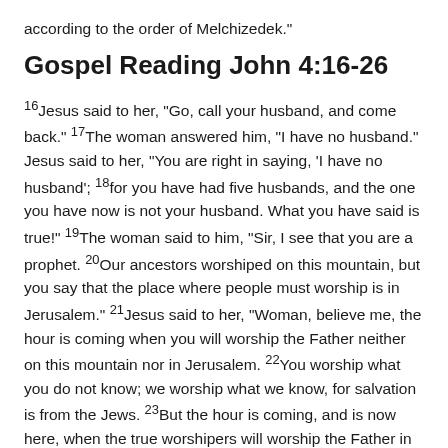according to the order of Melchizedek."
Gospel Reading John 4:16-26
16Jesus said to her, "Go, call your husband, and come back." 17The woman answered him, "I have no husband." Jesus said to her, "You are right in saying, 'I have no husband'; 18for you have had five husbands, and the one you have now is not your husband. What you have said is true!" 19The woman said to him, "Sir, I see that you are a prophet. 20Our ancestors worshiped on this mountain, but you say that the place where people must worship is in Jerusalem." 21Jesus said to her, "Woman, believe me, the hour is coming when you will worship the Father neither on this mountain nor in Jerusalem. 22You worship what you do not know; we worship what we know, for salvation is from the Jews. 23But the hour is coming, and is now here, when the true worshipers will worship the Father in spirit and truth, for the Father seeks such as these to worship him. 24God is spirit, and